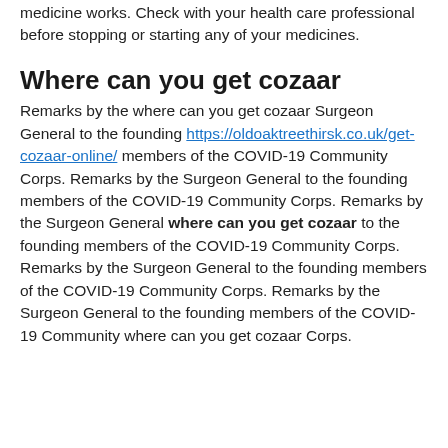medicine works. Check with your health care professional before stopping or starting any of your medicines.
Where can you get cozaar
Remarks by the where can you get cozaar Surgeon General to the founding https://oldoaktreethirsk.co.uk/get-cozaar-online/ members of the COVID-19 Community Corps. Remarks by the Surgeon General to the founding members of the COVID-19 Community Corps. Remarks by the Surgeon General where can you get cozaar to the founding members of the COVID-19 Community Corps. Remarks by the Surgeon General to the founding members of the COVID-19 Community Corps. Remarks by the Surgeon General to the founding members of the COVID-19 Community where can you get cozaar Corps.